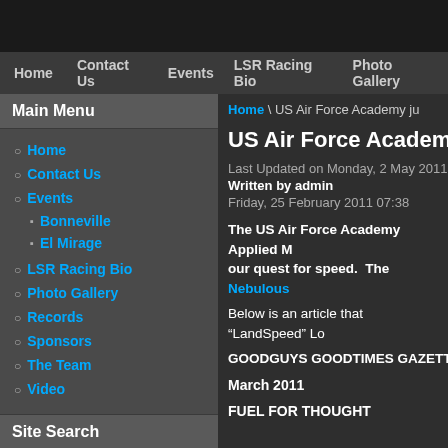Home | Contact Us | Events | LSR Racing Bio | Photo Gallery
Main Menu
Home
Contact Us
Events
Bonneville
El Mirage
LSR Racing Bio
Photo Gallery
Records
Sponsors
The Team
Video
Site Search
Search
Home \ US Air Force Academy ju
US Air Force Academy ju
Last Updated on Monday, 2 May 2011 12:5
Written by admin
Friday, 25 February 2011 07:38
The US Air Force Academy Applied M... our quest for speed.  The Nebulous ...
Below is an article that “LandSpeed” Lo
GOODGUYS GOODTIMES GAZETTE
March 2011
FUEL FOR THOUGHT